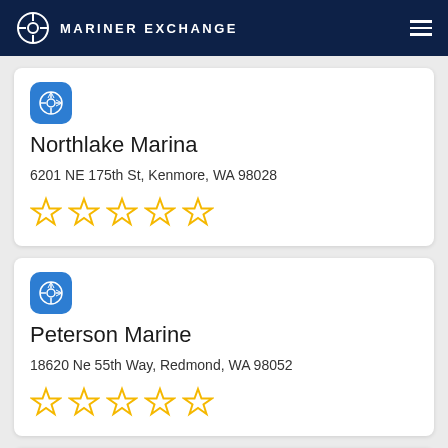MARINER EXCHANGE
Northlake Marina
6201 NE 175th St, Kenmore, WA 98028
Peterson Marine
18620 Ne 55th Way, Redmond, WA 98052